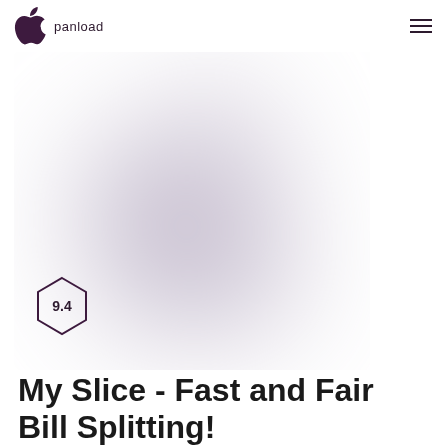panload
[Figure (logo): Large blurred Apple logo (bitten apple silhouette) in light gray/lavender tones as hero image background, with a hexagonal rating badge showing 9.4 in the lower left]
My Slice - Fast and Fair Bill Splitting!